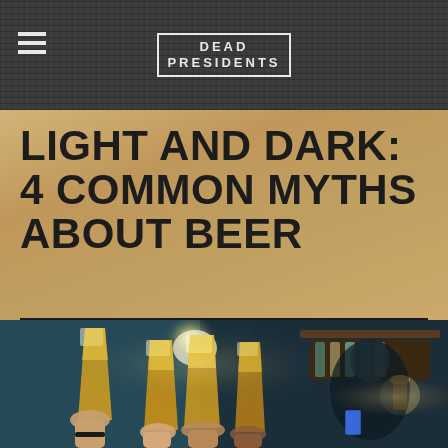DEAD PRESIDENTS
LIGHT AND DARK: 4 COMMON MYTHS ABOUT BEER
[Figure (photo): Multiple people raising beer glasses in a toast/cheers at a bar or restaurant setting, warm golden lighting with bokeh background]